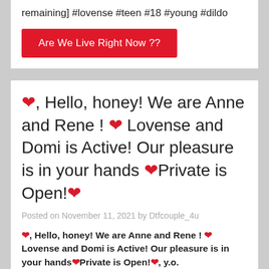remaining] #lovense #teen #18 #young #dildo
Are We Live Right Now ??
❤, Hello, honey! We are Anne and Rene ! ❤ Lovense and Domi is Active! Our pleasure is in your hands ❤Private is Open!❤
Posted on November 11, 2021 by Dtfcouple_4u
❤, Hello, honey! We are Anne and Rene ! ❤ Lovense and Domi is Active! Our pleasure is in your hands❤Private is Open!❤, y.o.
Location: Ukraine